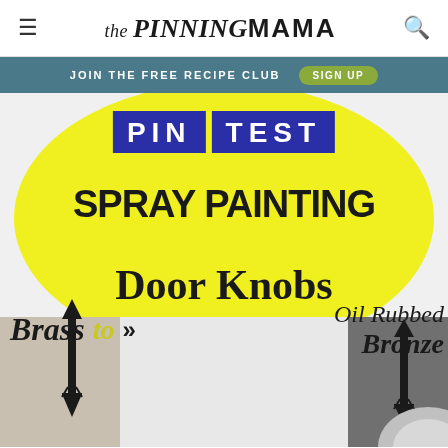the PINNING MAMA
JOIN THE FREE RECIPE CLUB  SIGN UP
[Figure (illustration): Promotional graphic for The Pinning Mama blog showing a Pinterest test for spray painting door knobs from brass to oil rubbed bronze. Features PIN TEST text in blue blocks, large bold text overlay on a yellow ellipse background, with before/after door imagery and arrow graphics.]